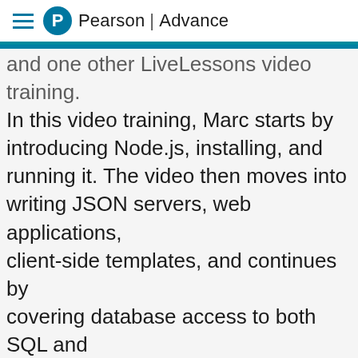Pearson | Advance
and one other LiveLessons video training. In this video training, Marc starts by introducing Node.js, installing, and running it. The video then moves into writing JSON servers, web applications, client-side templates, and continues by covering database access to both SQL and NoSQL database servers.
After watching this video, developers will begin to understand why Node.js inspires so much passion, and they will be able to write fast, compact, and reliable